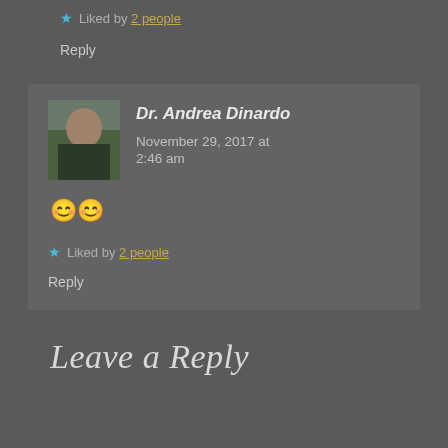★ Liked by 2 people
Reply
Dr. Andrea Dinardo  November 29, 2017 at 2:46 am
😊😊
★ Liked by 2 people
Reply
Leave a Reply